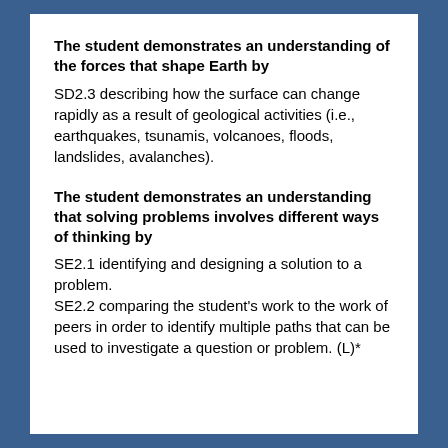The student demonstrates an understanding of the forces that shape Earth by
SD2.3 describing how the surface can change rapidly as a result of geological activities (i.e., earthquakes, tsunamis, volcanoes, floods, landslides, avalanches).
The student demonstrates an understanding that solving problems involves different ways of thinking by
SE2.1 identifying and designing a solution to a problem.
SE2.2 comparing the student's work to the work of peers in order to identify multiple paths that can be used to investigate a question or problem. (L)*